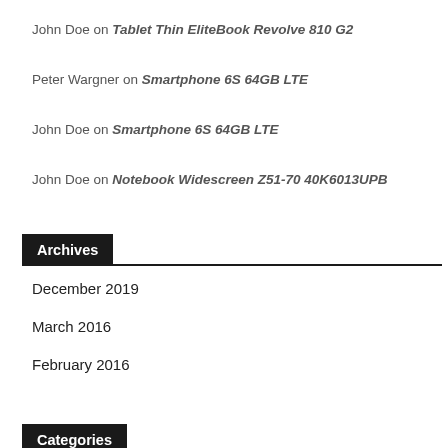John Doe on Tablet Thin EliteBook Revolve 810 G2
Peter Wargner on Smartphone 6S 64GB LTE
John Doe on Smartphone 6S 64GB LTE
John Doe on Notebook Widescreen Z51-70 40K6013UPB
Archives
December 2019
March 2016
February 2016
Categories